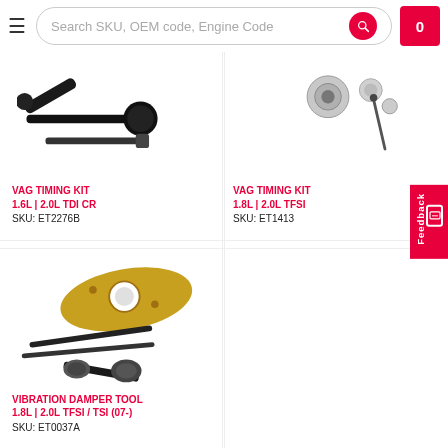Search SKU, OEM code, Engine Code
[Figure (photo): VAG timing kit tools including a ball-end lever and pin tool for 1.6L/2.0L TDI CR engines]
VAG TIMING KIT
1.6L | 2.0L TDI CR
SKU: ET2276B
[Figure (photo): VAG timing kit components including bearings and a pin tool for 1.8L/2.0L TFSI engines]
VAG TIMING KIT
1.8L | 2.0L TFSI
SKU: ET1413
[Figure (photo): Vibration damper tool set including a gold-colored holding plate and assorted pins and sockets for 1.8L/2.0L TFSI/TSI (07-) engines]
VIBRATION DAMPER TOOL
1.8L | 2.0L TFSI / TSI (07-)
SKU: ET0037A